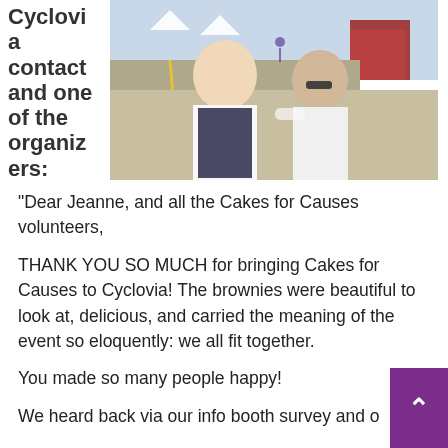Cyclovia contact and one of the organizers:
[Figure (photo): Outdoor photo of two women smiling at an event, one wearing a white t-shirt and dark apron, the other in a white shirt with sunglasses. Street scene with cyclists and tents visible in background.]
“Dear Jeanne, and all the Cakes for Causes volunteers,
THANK YOU SO MUCH for bringing Cakes for Causes to Cyclovia! The brownies were beautiful to look at, delicious, and carried the meaning of the event so eloquently: we all fit together.
You made so many people happy!
We heard back via our info booth survey and o